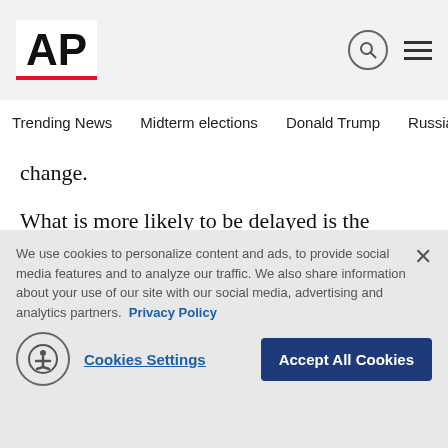AP
Trending News  Midterm elections  Donald Trump  Russia-Ukr
change.
What is more likely to be delayed is the result. State election officials in some key battleground states have warned that it might take days to count the votes given what they expect will be a surge of ballots sent by mail. In an election as close as 2016's, a delayed tally in key
We use cookies to personalize content and ads, to provide social media features and to analyze our traffic. We also share information about your use of our site with our social media, advertising and analytics partners. Privacy Policy
Cookies Settings  Accept All Cookies